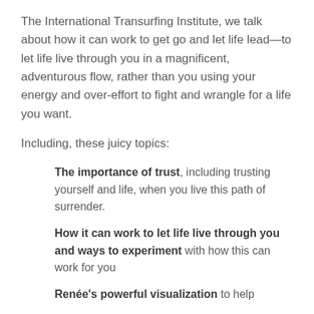The International Transurfing Institute, we talk about how it can work to get go and let life lead—to let life live through you in a magnificent, adventurous flow, rather than you using your energy and over-effort to fight and wrangle for a life you want.
Including, these juicy topics:
The importance of trust, including trusting yourself and life, when you live this path of surrender.
How it can work to let life live through you and ways to experiment with how this can work for you
Renée's powerful visualization to help